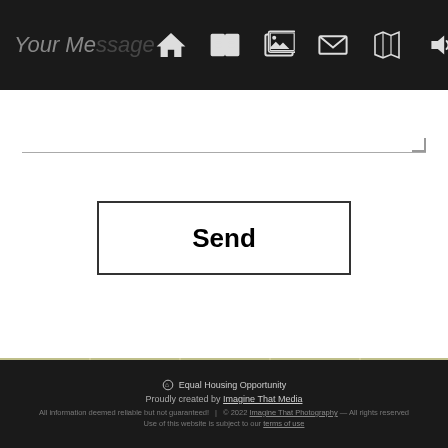Your Message | [nav icons: home, book, gallery, mail, map, speaker]
Your Message [text input area]
Send
[Figure (map): Satellite map of Orlando, FL area showing neighborhoods including Lake Mann, Callahan, ORL airport, Hibiscus, Malibu, Clear Lake Shores, McLeisch Terrace, Mariner's Village, Lake Frederica, 33rd Street Industrial, Holden Shores, Greenfield Manor, Southfork, Commodore Place, Gatlin Oaks, Gatlin Gardens, Lynnwood Estates. A red location pin marker is placed in the center of the map near downtown Orlando.]
Equal Housing Opportunity
Proudly created by Imagine That Media
All information deemed reliable but not guaranteed! | © 2022 Imagine That Photography — All rights reserved
Use of this website is subject to our terms of use